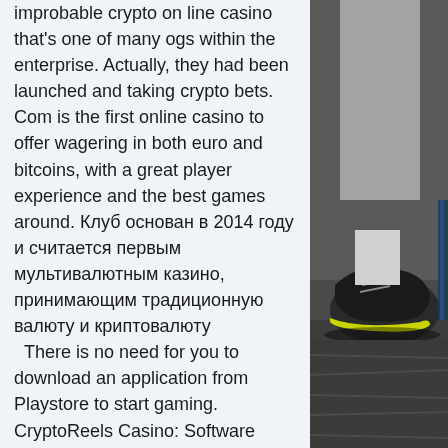improbable crypto on line casino that's one of many ogs within the enterprise. Actually, they had been launched and taking crypto bets. Com is the first online casino to offer wagering in both euro and bitcoins, with a great player experience and the best games around. Клуб основан в 2014 году и считается первым мультивалютным казино, принимающим традиционную валюту и криптовалюту
  There is no need for you to download an application from Playstore to start gaming. CryptoReels Casino: Software &Games. Automatically, the site gives the members a warm welcome considering the varieties of fantastic games that are made available, and the games are always updated in correlation to the software trends, . Of course, provision is made for payers to make use of a filter such that you can restrict your search to only table games, video slot, progressive jackpot,
[Figure (photo): Photo of a person's lower body/legs wearing athletic shoes (sneakers with yellow sole) on a dark asphalt/ground surface, cropped to show only the right side of the page]